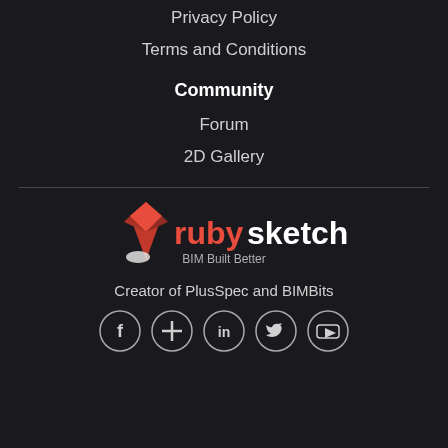Privacy Policy
Terms and Conditions
Community
Forum
2D Gallery
[Figure (logo): RubySketch logo with red diamond gemstone icon and text 'rubysketch BIM Built Better']
Creator of PlusSpec and BIMBits
[Figure (infographic): Social media icons in circles: Facebook, Google Plus, LinkedIn, Twitter, YouTube]